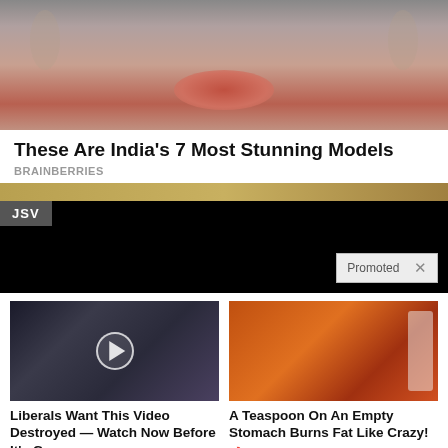[Figure (photo): Close-up photo of a woman's face with bold red lips and hoop earrings, partially cropped]
These Are India's 7 Most Stunning Models
BRAINBERRIES
[Figure (screenshot): Video player with black background, JSV badge top-left, golden strip at top, Promoted X badge bottom-right]
[Figure (photo): Two thumbnail images side by side: left shows political figures with video play button overlay; right shows woman with abs and spice/seasoning]
Liberals Want This Video Destroyed — Watch Now Before It's Gone
48,525
A Teaspoon On An Empty Stomach Burns Fat Like Crazy!
156,163